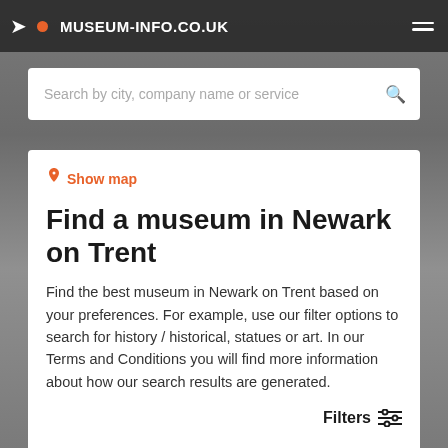MUSEUM-INFO.CO.UK
[Figure (screenshot): Search bar with placeholder text: Search by city, company name or service]
Show map
Find a museum in Newark on Trent
Find the best museum in Newark on Trent based on your preferences. For example, use our filter options to search for history / historical, statues or art. In our Terms and Conditions you will find more information about how our search results are generated.
Filters